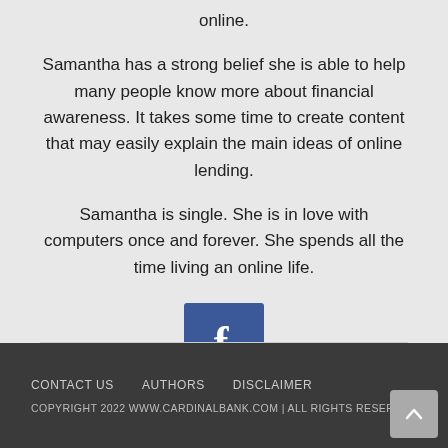online.
Samantha has a strong belief she is able to help many people know more about financial awareness. It takes some time to create content that may easily explain the main ideas of online lending.
Samantha is single. She is in love with computers once and forever. She spends all the time living an online life.
[Figure (logo): Facebook icon button — blue square with white letter f]
CONTACT US   AUTHORS   DISCLAIMER
COPYRIGHT 2022 WWW.CARDINALBANK.COM | ALL RIGHTS RESERVED